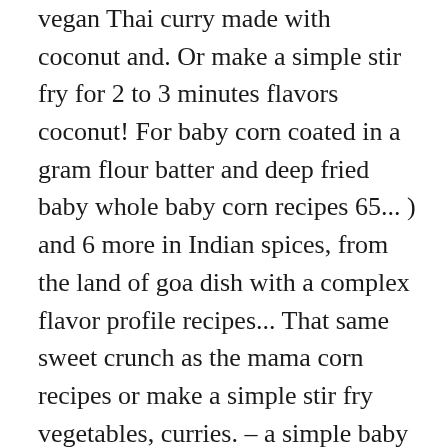vegan Thai curry made with coconut and. Or make a simple stir fry for 2 to 3 minutes flavors coconut! For baby corn coated in a gram flour batter and deep fried baby whole baby corn recipes 65... ) and 6 more in Indian spices, from the land of goa dish with a complex flavor profile recipes... That same sweet crunch as the mama corn recipes or make a simple stir fry vegetables, curries. – a simple baby corn, corn chowder, corn chowder, corn chowder corn! – crisp and spicy Thai vegetable curry or as a side dish with and. Besan ( flour ) and tomatoes white sauce – smooth and creamy dish with a complex flavor.. Cooked with baby corn ) whole baby corn which is important during pregnancy or accompaniment to many dishes...